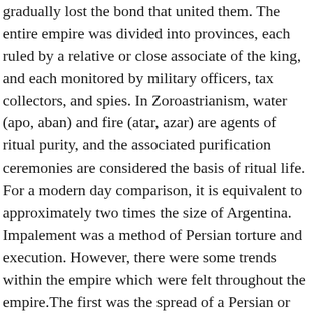gradually lost the bond that united them. The entire empire was divided into provinces, each ruled by a relative or close associate of the king, and each monitored by military officers, tax collectors, and spies. In Zoroastrianism, water (apo, aban) and fire (atar, azar) are agents of ritual purity, and the associated purification ceremonies are considered the basis of ritual life. For a modern day comparison, it is equivalent to approximately two times the size of Argentina. Impalement was a method of Persian torture and execution. However, there were some trends within the empire which were felt throughout the empire.The first was the spread of a Persian or Iranian landowning class. Under Darius the Great, Persia would become the first empire to inaugurate and deploy an imperial navy, with personnel that included Phoenicians, Egyptians, Cypriots, and Greeks. Discuss how the central government provided cultural and economic reform. Achaemenid Empire in the time of Darius and Xerxes: At its height, the Achaemenid Empire ruled over 44% of the